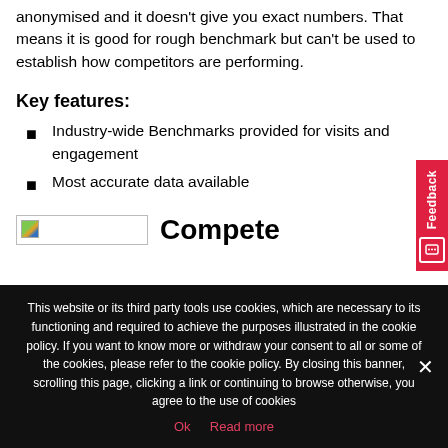anonymised and it doesn't give you exact numbers. That means it is good for rough benchmark but can't be used to establish how competitors are performing.
Key features:
Industry-wide Benchmarks provided for visits and engagement
Most accurate data available
[Figure (logo): Compete logo with small icon and the word 'Compete' in bold]
Feedback (tab)
This website or its third party tools use cookies, which are necessary to its functioning and required to achieve the purposes illustrated in the cookie policy. If you want to know more or withdraw your consent to all or some of the cookies, please refer to the cookie policy. By closing this banner, scrolling this page, clicking a link or continuing to browse otherwise, you agree to the use of cookies
Ok   Read more